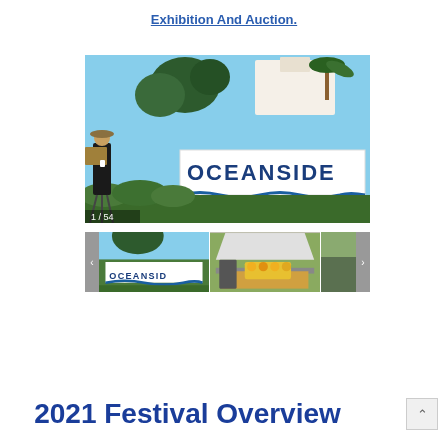Exhibition And Auction.
[Figure (photo): Outdoor photo of an artist with easel and tripod in front of an 'OCEANSIDE' city sign with hedges, trees, and a white building in the background. Counter shows 1/54.]
[Figure (photo): Thumbnail gallery row showing three images: (1) Oceanside sign thumbnail, (2) outdoor market stall with tent and produce, (3) partial third image, with left and right navigation arrows.]
2021 Festival Overview